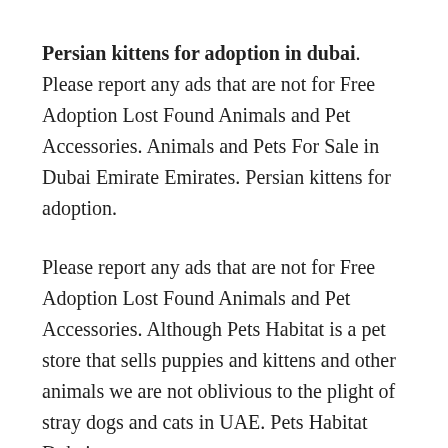Persian kittens for adoption in dubai. Please report any ads that are not for Free Adoption Lost Found Animals and Pet Accessories. Animals and Pets For Sale in Dubai Emirate Emirates. Persian kittens for adoption.
Please report any ads that are not for Free Adoption Lost Found Animals and Pet Accessories. Although Pets Habitat is a pet store that sells puppies and kittens and other animals we are not oblivious to the plight of stray dogs and cats in UAE. Pets Habitat Dubai.